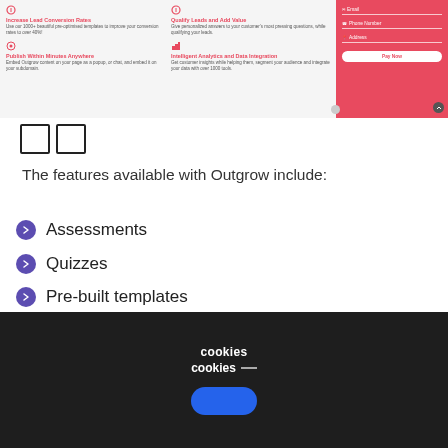[Figure (screenshot): Screenshot of Outgrow platform showing feature cards: Increase Lead Conversion Rates, Qualify Leads and Add Value, Publish Within Minutes Anywhere, Intelligent Analytics and Data Integration, and a form on the right with Email, Phone Number, Address fields and a Pay Now button]
[Figure (other): Two empty checkbox/square icon symbols]
The features available with Outgrow include:
Assessments
Quizzes
Pre-built templates
cookies
cookies _
[Figure (other): Blue rounded rectangle button (cookie consent accept button)]